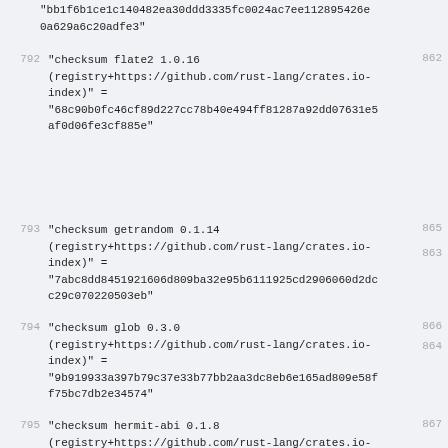"bb1f6b1ce1c140482ea30ddd3335fc0024ac7ee112895426e0a629a6c20adfe3"
792 "checksum flate2 1.0.16 (registry+https://github.com/rust-lang/crates.io-index)" = "68c90b0fc46cf89d227cc78b40e494ff81287a92dd07631e5af0d06fe3cf885e"
793 "checksum getrandom 0.1.14 (registry+https://github.com/rust-lang/crates.io-index)" = "7abc8dd8451921606d809ba32e95b6111925cd2906060d2dcc29c070220503eb"
794 "checksum glob 0.3.0 (registry+https://github.com/rust-lang/crates.io-index)" = "9b919933a397b79c37e33b77bb2aa3dc8eb6e165ad809e58ff75bc7db2e34574"
795 "checksum hermit-abi 0.1.8 (registry+https://github.com/rust-lang/crates.io-index)"